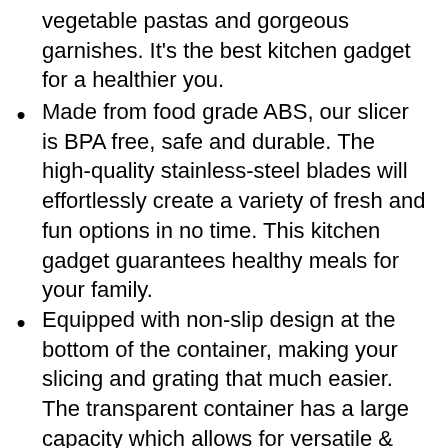vegetable pastas and gorgeous garnishes. It’s the best kitchen gadget for a healthier you.
Made from food grade ABS, our slicer is BPA free, safe and durable. The high-quality stainless-steel blades will effortlessly create a variety of fresh and fun options in no time. This kitchen gadget guarantees healthy meals for your family.
Equipped with non-slip design at the bottom of the container, making your slicing and grating that much easier. The transparent container has a large capacity which allows for versatile & safe, compact storage for all 7 Blades. No mess in kitchen any more.
Our vegetable mandoline slicer can be